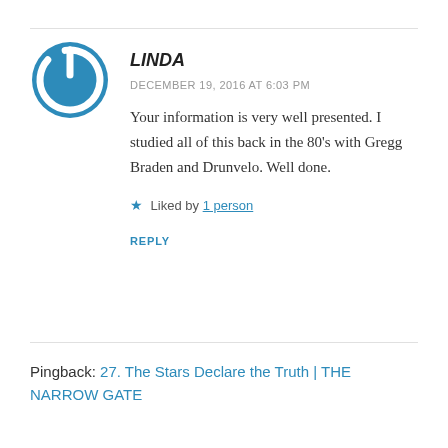[Figure (logo): Blue circular power button icon — circle with a gap at top and a vertical line through the gap, in blue on white background]
LINDA
DECEMBER 19, 2016 AT 6:03 PM
Your information is very well presented. I studied all of this back in the 80's with Gregg Braden and Drunvelo. Well done.
★ Liked by 1 person
REPLY
Pingback: 27. The Stars Declare the Truth | THE NARROW GATE